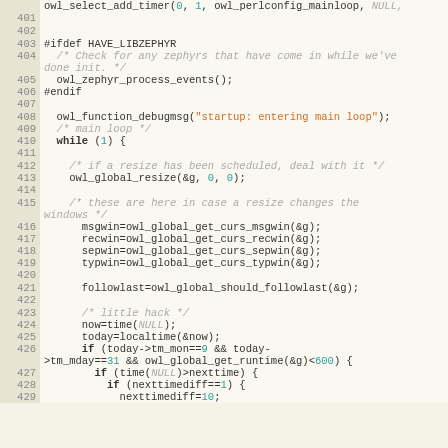[Figure (screenshot): Source code listing showing C code lines 401-429 with syntax highlighting. Line numbers in left gutter, code on right with keywords, strings, comments, and numeric literals highlighted in different colors.]